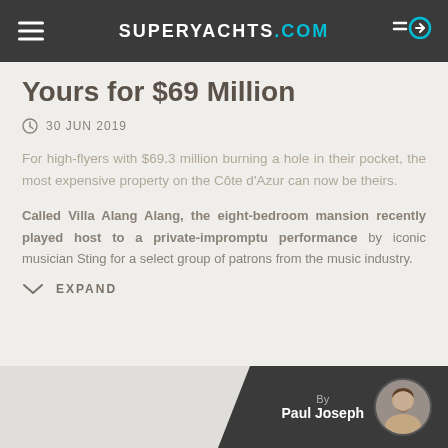SUPERYACHTS.COM
Yours for $69 Million
30 JUN 2019
For high-flyers with $69.3 million burning a hole in their pocket, the most expensive property on the Côte d'Azur can now be theirs.
Called Villa Alang Alang, the eight-bedroom mansion recently played host to a private-impromptu performance by iconic musician Sting for a select group of patrons from the music industry.
EXPAND
By
Paul Joseph